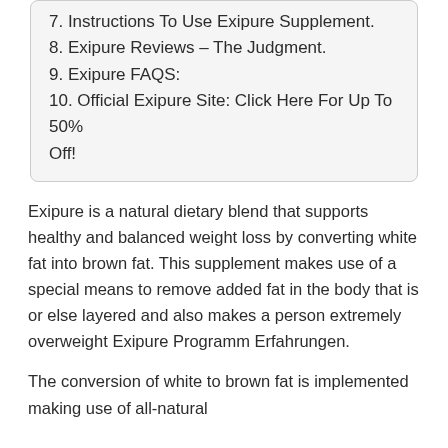7. Instructions To Use Exipure Supplement.
8. Exipure Reviews – The Judgment.
9. Exipure FAQS:
10. Official Exipure Site: Click Here For Up To 50% Off!
Exipure is a natural dietary blend that supports healthy and balanced weight loss by converting white fat into brown fat. This supplement makes use of a special means to remove added fat in the body that is or else layered and also makes a person extremely overweight Exipure Programm Erfahrungen.
The conversion of white to brown fat is implemented making use of all-natural